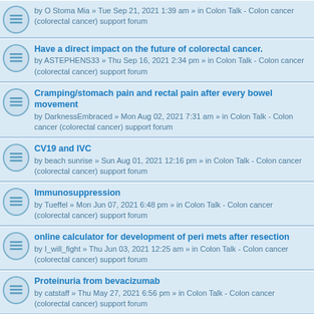by O Stoma Mia » Tue Sep 21, 2021 1:39 am » in Colon Talk - Colon cancer (colorectal cancer) support forum
Have a direct impact on the future of colorectal cancer. by ASTEPHENS33 » Thu Sep 16, 2021 2:34 pm » in Colon Talk - Colon cancer (colorectal cancer) support forum
Cramping/stomach pain and rectal pain after every bowel movement by DarknessEmbraced » Mon Aug 02, 2021 7:31 am » in Colon Talk - Colon cancer (colorectal cancer) support forum
CV19 and IVC by beach sunrise » Sun Aug 01, 2021 12:16 pm » in Colon Talk - Colon cancer (colorectal cancer) support forum
Immunosuppression by Tueffel » Mon Jun 07, 2021 6:48 pm » in Colon Talk - Colon cancer (colorectal cancer) support forum
online calculator for development of peri mets after resection by I_will_fight » Thu Jun 03, 2021 12:25 am » in Colon Talk - Colon cancer (colorectal cancer) support forum
Proteinuria from bevacizumab by catstaff » Thu May 27, 2021 6:56 pm » in Colon Talk - Colon cancer (colorectal cancer) support forum
Savvy Gig for former smokers: $2,500 fee by zephyr » Wed May 26, 2021 7:47 pm » in Colon Talk - Colon cancer (colorectal cancer) support forum
Focus Group re Cancer: $100 fee by zephyr » Mon May 24, 2021 5:44 pm » in Colon Talk - Colon cancer (colorectal cancer) support forum
ANNOUNCEMENT - 2022 Colon Camp "On the Rise" featured survivors/caregivers by O Stoma Mia » Sat May 08, 2021 1:55 pm » in Colon Talk - Colon cancer